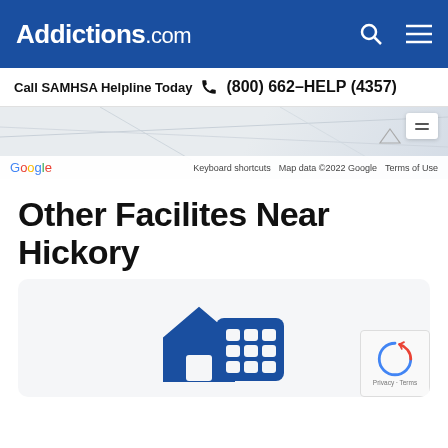Addictions.com
Call SAMHSA Helpline Today  (800) 662-HELP (4357)
[Figure (screenshot): Google Maps partial view with map controls, showing keyboard shortcuts, map data copyright 2022 Google, and Terms of Use]
Other Facilites Near Hickory
[Figure (illustration): Blue icon of a house and building/facility, representing treatment facilities]